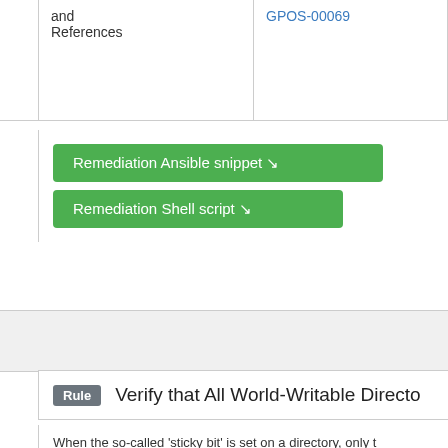|  |  |
| --- | --- |
| and
References | GPOS-00069 |
Remediation Ansible snippet ↘
Remediation Shell script ↘
Rule  Verify that All World-Writable Directo...
When the so-called 'sticky bit' is set on a directory, only t the directory. Without the sticky bit, any user with write a directory. Setting the sticky bit prevents users from remo reason for a directory to be world-writable, a better solut the sticky bit. However, if a directory is used by a particu documentation instead of blindly changing modes.
To set the sticky bit on a world-writable directory DIR, ru